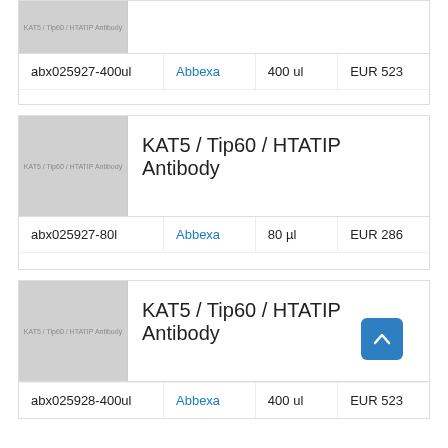| Catalog | Brand | Size | Price |
| --- | --- | --- | --- |
| abx025927-400ul | Abbexa | 400 ul | EUR 523 |
[Figure (photo): KAT5 / Tip60 / HTATIP Antibody product image placeholder (gray)]
KAT5 / Tip60 / HTATIP Antibody
| Catalog | Brand | Size | Price |
| --- | --- | --- | --- |
| abx025927-80l | Abbexa | 80 µl | EUR 286 |
[Figure (photo): KAT5 / Tip60 / HTATIP Antibody product image placeholder (gray)]
KAT5 / Tip60 / HTATIP Antibody
| Catalog | Brand | Size | Price |
| --- | --- | --- | --- |
| abx025928-400ul | Abbexa | 400 ul | EUR 523 |